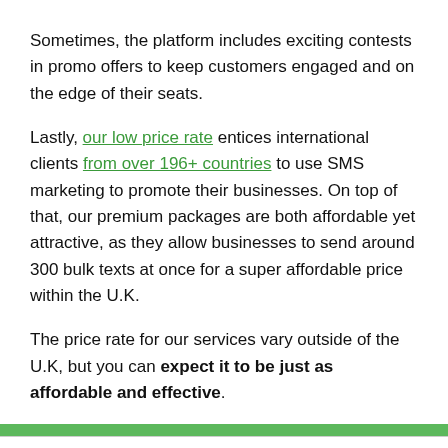Sometimes, the platform includes exciting contests in promo offers to keep customers engaged and on the edge of their seats.
Lastly, our low price rate entices international clients from over 196+ countries to use SMS marketing to promote their businesses. On top of that, our premium packages are both affordable yet attractive, as they allow businesses to send around 300 bulk texts at once for a super affordable price within the U.K.
The price rate for our services vary outside of the U.K, but you can expect it to be just as affordable and effective.
We are using cookies to give you the best experience on our website.
You can find out more about which cookies we are using or switch them off in settings.